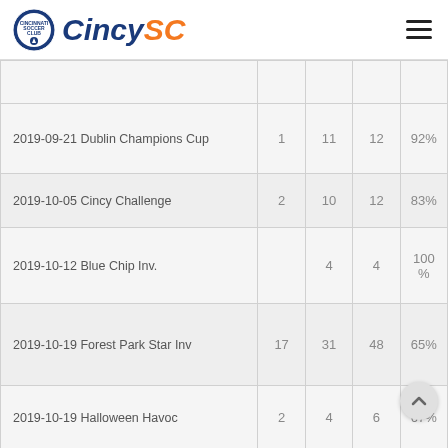[Figure (logo): CincySC soccer club logo with circular emblem and stylized text 'CincySC' in blue and orange]
| Event |  |  |  |  |
| --- | --- | --- | --- | --- |
| 2019-09-21 Dublin Champions Cup | 1 | 11 | 12 | 92% |
| 2019-10-05 Cincy Challenge | 2 | 10 | 12 | 83% |
| 2019-10-12 Blue Chip Inv. |  | 4 | 4 | 100% |
| 2019-10-19 Forest Park Star Inv | 17 | 31 | 48 | 65% |
| 2019-10-19 Halloween Havoc | 2 | 4 | 6 | 67% |